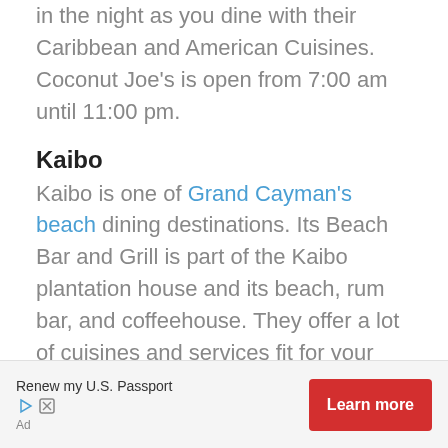in the night as you dine with their Caribbean and American Cuisines. Coconut Joe's is open from 7:00 am until 11:00 pm.
Kaibo
Kaibo is one of Grand Cayman's beach dining destinations. Its Beach Bar and Grill is part of the Kaibo plantation house and its beach, rum bar, and coffeehouse. They offer a lot of cuisines and services fit for your dining by the beach. You can try their best pizzas, barbeque and grill, seafood, and Caribbean cuisines while enjoying the view of the sea. The restaurant also offers alternative food
Renew my U.S. Passport
Ad
Learn more